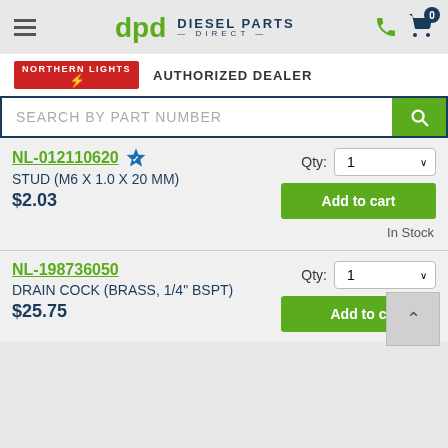Diesel Parts Direct — Northern Lights Authorized Dealer
SEARCH BY PART NUMBER
NL-012110620 ✔ STUD (M6 X 1.0 X 20 MM) $2.03  Qty: 1  Add to cart
In Stock
NL-198736050 DRAIN COCK (BRASS, 1/4" BSPT) $25.75  Qty: 1  Add to cart